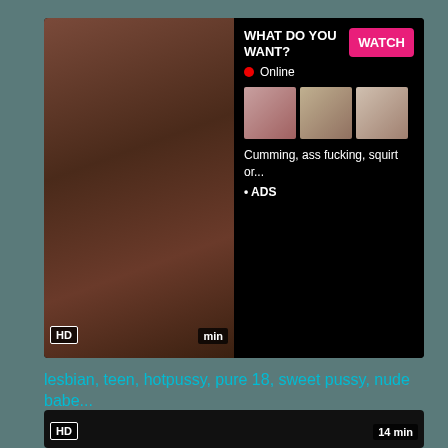[Figure (screenshot): Video thumbnail with adult content and advertisement overlay showing 'WHAT DO YOU WANT? WATCH' button, Online indicator, three small thumbnails, and text 'Cumming, ass fucking, squirt or... ADS']
lesbian, teen, hotpussy, pure 18, sweet pussy, nude babe...
[Figure (screenshot): Dark video player thumbnail with HD badge and 14 min duration label]